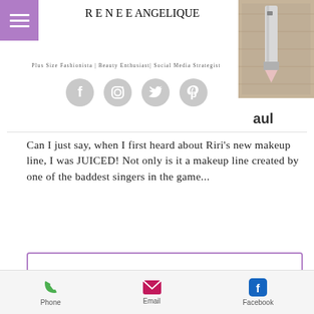[Figure (logo): Hamburger menu icon (three white lines) on purple background]
RENEE ANGELIQUE
[Figure (photo): Top-right photo of makeup pencil/lipstick on wooden surface]
Plus Size Fashionista | Beauty Enthusiast| Social Media Strategist
[Figure (infographic): Social media icons row: Facebook, Instagram, Twitter, Pinterest — all grey circles]
aul
Can I just say, when I first heard about Riri's new makeup line, I was JUICED! Not only is it a makeup line created by one of the baddest singers in the game...
→ Read More
[Figure (infographic): Bottom navigation bar with Phone (green phone icon), Email (pink envelope icon), Facebook (blue Facebook icon)]